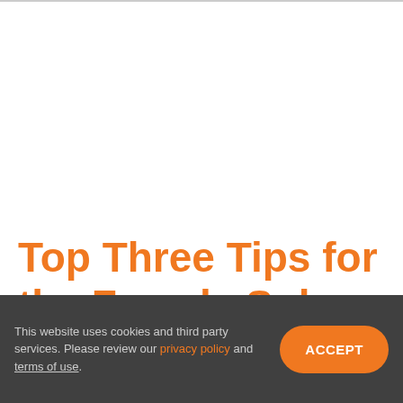Top Three Tips for the Female Solo Traveller
This website uses cookies and third party services. Please review our privacy policy and terms of use.